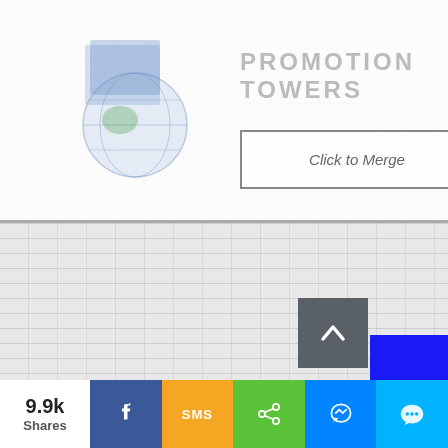[Figure (screenshot): Website screenshot showing Promotion Towers header with logo, Click to Merge button, brick-pattern background, Book an Appointment vertical button on right side, scroll-to-top button, and social share bar at bottom with 9.9k Shares, Facebook, SMS, Share, Messenger, and Chat icons]
PROMOTION TOWERS
Click to Merge
Book an Appointment
Rewe
9.9k Shares
SMS